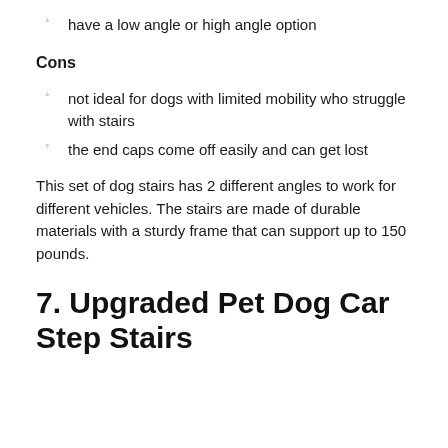have a low angle or high angle option
Cons
not ideal for dogs with limited mobility who struggle with stairs
the end caps come off easily and can get lost
This set of dog stairs has 2 different angles to work for different vehicles. The stairs are made of durable materials with a sturdy frame that can support up to 150 pounds.
7. Upgraded Pet Dog Car Step Stairs